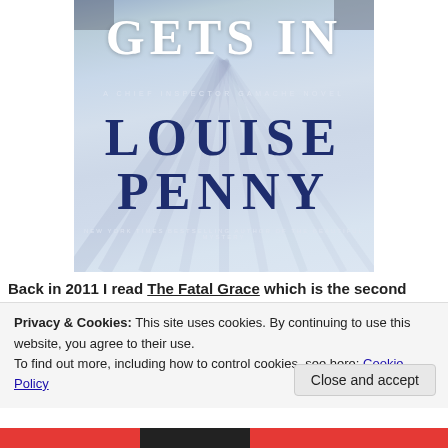[Figure (illustration): Book cover showing a winter snowy scene with text 'GETS IN', 'A CHIEF INSPECTOR GAMACHE NOVEL', 'LOUISE PENNY', 'NEW YORK TIMES BESTSELLING AUTHOR OF THE BEAUTIFUL MYSTERY']
Back in 2011 I read The Fatal Grace which is the second...
Privacy & Cookies: This site uses cookies. By continuing to use this website, you agree to their use. To find out more, including how to control cookies, see here: Cookie Policy
Close and accept